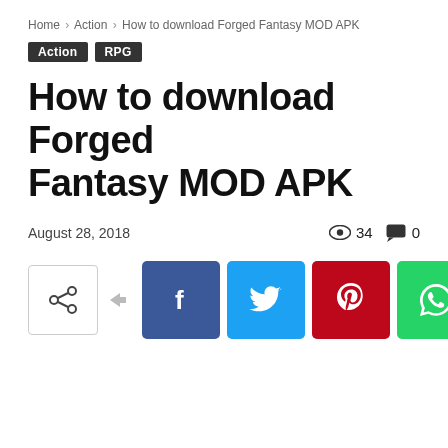Home › Action › How to download Forged Fantasy MOD APK
Action  RPG
How to download Forged Fantasy MOD APK
August 28, 2018   👁 34   💬 0
[Figure (infographic): Social share buttons row: share icon box with arrow, then Facebook (blue), Twitter (cyan), Pinterest (red), WhatsApp (green) icon buttons]